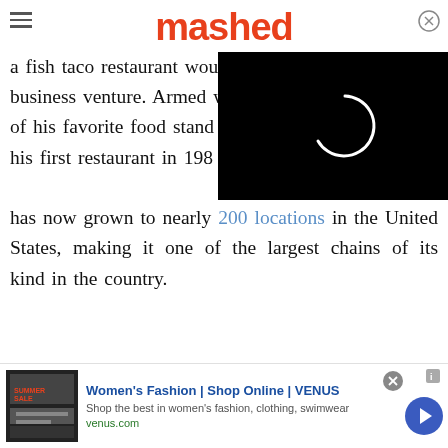mashed
a fish taco restaurant wou business venture. Armed wi of his favorite food stand his first restaurant in 1983 has now grown to nearly 200 locations in the United States, making it one of the largest chains of its kind in the country.
[Figure (screenshot): Black video player overlay with white loading spinner circle in the center-right area of the page]
Women's Fashion | Shop Online | VENUS
Shop the best in women's fashion, clothing, swimwear
venus.com